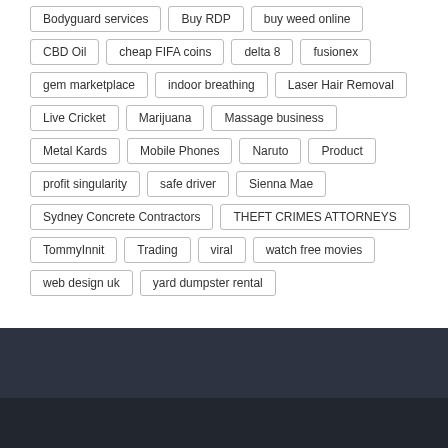Bodyguard services
Buy RDP
buy weed online
CBD Oil
cheap FIFA coins
delta 8
fusionex
gem marketplace
indoor breathing
Laser Hair Removal
Live Cricket
Marijuana
Massage business
Metal Kards
Mobile Phones
Naruto
Product
profit singularity
safe driver
Sienna Mae
Sydney Concrete Contractors
THEFT CRIMES ATTORNEYS
TommyInnit
Trading
viral
watch free movies
web design uk
yard dumpster rental